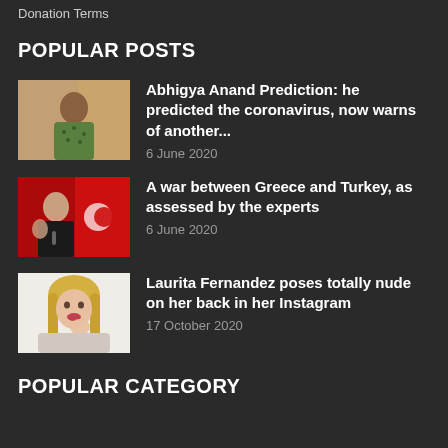Donation Terms
POPULAR POSTS
Abhigya Anand Prediction: he predicted the coronavirus, now warns of another...
6 June 2020
A war between Greece and Turkey, as assessed by the experts
6 June 2020
Laurita Fernandez poses totally nude on her back in her Instagram
17 October 2020
POPULAR CATEGORY